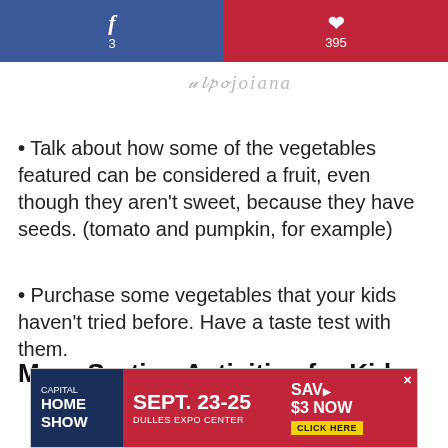[Figure (infographic): Social share bar with Facebook (3) in blue and Pinterest (395) in red]
[Figure (logo): Cursive script logo/signature in gray]
Talk about how some of the vegetables featured can be considered a fruit, even though they aren't sweet, because they have seeds. (tomato and pumpkin, for example)
Purchase some vegetables that your kids haven't tried before. Have a taste test with them.
More Sorting Activities for Kids
[Figure (infographic): Capital Home Show advertisement banner: Sept. 23-25, Dulles Expo Center, Save $3 Now, Click Here]